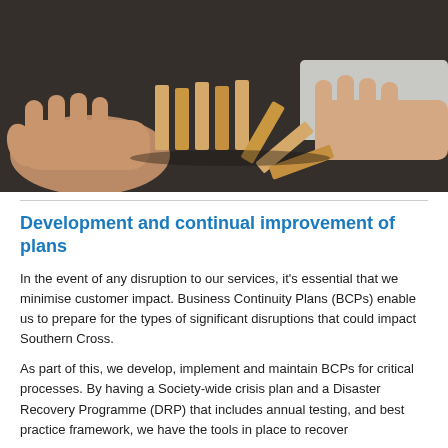[Figure (photo): Two pairs of hands on a dark table surface, stopping a row of falling wooden domino blocks. One hand from the left side and one hand wearing a light grey shirt sleeve from the right side are both holding back the dominoes.]
Development and continual improvement of plans
In the event of any disruption to our services, it's essential that we minimise customer impact. Business Continuity Plans (BCPs) enable us to prepare for the types of significant disruptions that could impact Southern Cross.
As part of this, we develop, implement and maintain BCPs for critical processes. By having a Society-wide crisis plan and a Disaster Recovery Programme (DRP) that includes annual testing, and best practice framework, we have the tools in place to recover